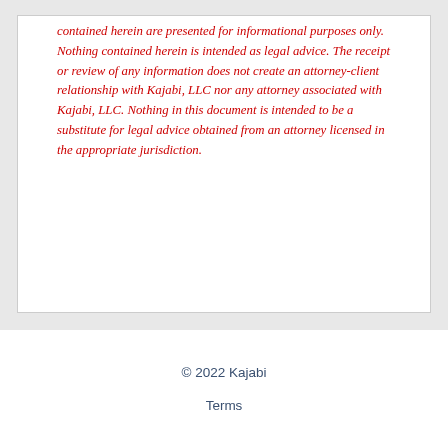contained herein are presented for informational purposes only. Nothing contained herein is intended as legal advice. The receipt or review of any information does not create an attorney-client relationship with Kajabi, LLC nor any attorney associated with Kajabi, LLC. Nothing in this document is intended to be a substitute for legal advice obtained from an attorney licensed in the appropriate jurisdiction.
© 2022 Kajabi
Terms